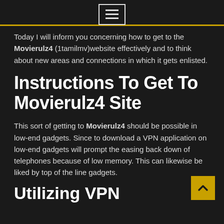☰ (hamburger menu button)
Today I will inform you concerning how to get to the Movierulz4 (1tamilmv)website effectively and to think about new areas and connections in which it gets enlisted.
Instructions To Get To Movierulz4 Site
This sort of getting to Movierulz4 should be possible in low-end gadgets. Since to download a VPN application on low-end gadgets will prompt the easing back down of telephones because of low memory. This can likewise be liked by top of the line gadgets.
Utilizing VPN